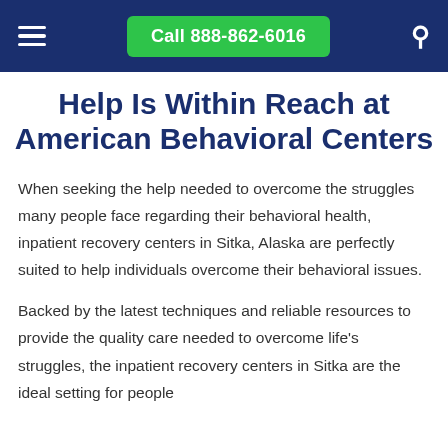Call 888-862-6016
Help Is Within Reach at American Behavioral Centers
When seeking the help needed to overcome the struggles many people face regarding their behavioral health, inpatient recovery centers in Sitka, Alaska are perfectly suited to help individuals overcome their behavioral issues.
Backed by the latest techniques and reliable resources to provide the quality care needed to overcome life's struggles, the inpatient recovery centers in Sitka are the ideal setting for people